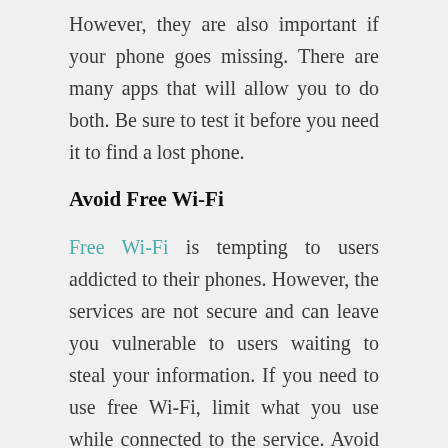However, they are also important if your phone goes missing. There are many apps that will allow you to do both. Be sure to test it before you need it to find a lost phone.
Avoid Free Wi-Fi
Free Wi-Fi is tempting to users addicted to their phones. However, the services are not secure and can leave you vulnerable to users waiting to steal your information. If you need to use free Wi-Fi, limit what you use while connected to the service. Avoid logging in to any important accounts such as your bank or credit card. When you are finished with whatever you're doing, log off. Before that, restart off...